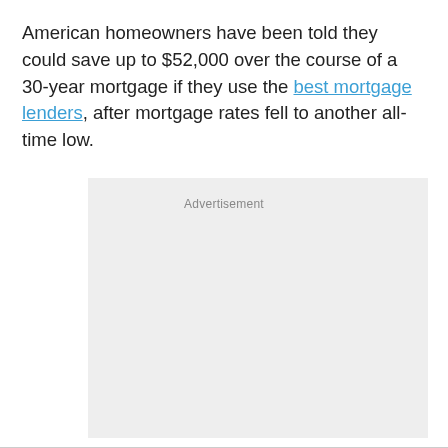American homeowners have been told they could save up to $52,000 over the course of a 30-year mortgage if they use the best mortgage lenders, after mortgage rates fell to another all-time low.
[Figure (other): Advertisement placeholder box with light gray background and 'Advertisement' label text centered at top]